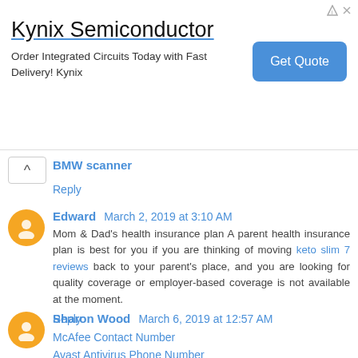[Figure (other): Advertisement banner for Kynix Semiconductor with 'Get Quote' button]
BMW scanner
Reply
Edward March 2, 2019 at 3:10 AM
Mom & Dad's health insurance plan A parent health insurance plan is best for you if you are thinking of moving keto slim 7 reviews back to your parent's place, and you are looking for quality coverage or employer-based coverage is not available at the moment.
Reply
Sharon Wood March 6, 2019 at 12:57 AM
McAfee Contact Number
Avast Antivirus Phone Number